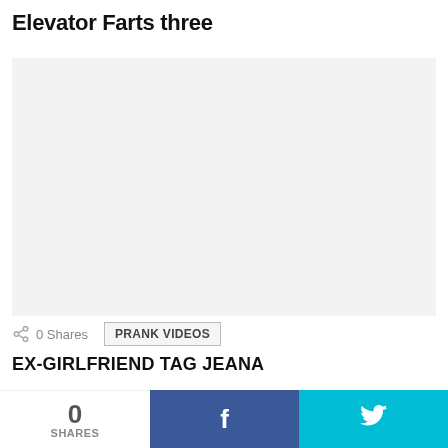Elevator Farts three
[Figure (other): Video player placeholder — light gray rectangle]
0 Shares
PRANK VIDEOS
EX-GIRLFRIEND TAG JEANA
[Figure (other): Second video placeholder — light gray rectangle with scroll-to-top button]
0 SHARES  f  (Twitter bird)